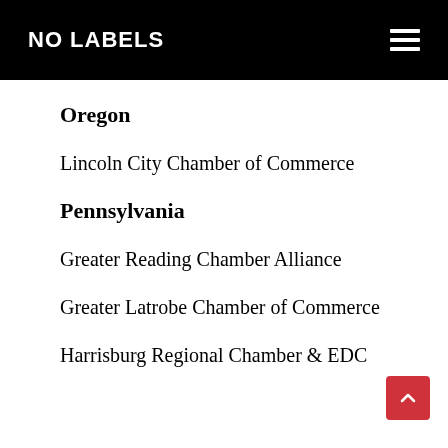NO LABELS
Oregon
Lincoln City Chamber of Commerce
Pennsylvania
Greater Reading Chamber Alliance
Greater Latrobe Chamber of Commerce
Harrisburg Regional Chamber & EDC